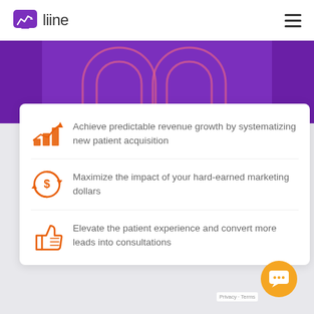[Figure (logo): Liine logo with purple chat icon and trending arrow, text 'liine' in dark gray]
[Figure (illustration): Purple banner with two orange horseshoe/magnet outline shapes]
Achieve predictable revenue growth by systematizing new patient acquisition
Maximize the impact of your hard-earned marketing dollars
Elevate the patient experience and convert more leads into consultations
[Figure (illustration): Orange circular chat/support button in bottom right corner]